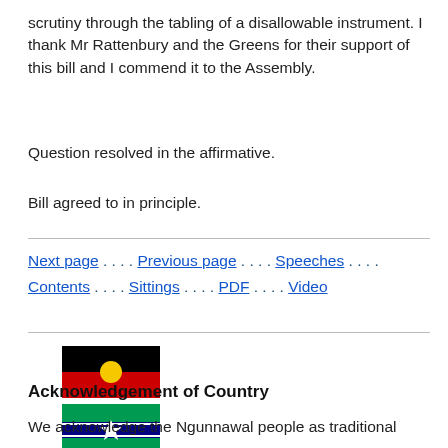scrutiny through the tabling of a disallowable instrument. I thank Mr Rattenbury and the Greens for their support of this bill and I commend it to the Assembly.
Question resolved in the affirmative.
Bill agreed to in principle.
Next page . . . . Previous page . . . . Speeches . . . . Contents . . . . Sittings . . . . PDF . . . . Video
[Figure (illustration): Australian Aboriginal Flag - black top half and red bottom half with yellow circle in centre; Torres Strait Islander Flag - green, blue and black with white symbol in middle]
Acknowledgement of Country
We acknowledge the Ngunnawal people as traditional